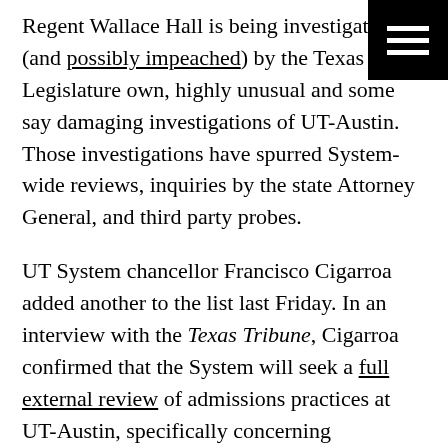Regent Wallace Hall is being investigated (and possibly impeached) by the Texas Legislature own, highly unusual and some say damaging investigations of UT-Austin. Those investigations have spurred System-wide reviews, inquiries by the state Attorney General, and third party probes.
UT System chancellor Francisco Cigarroa added another to the list last Friday. In an interview with the Texas Tribune, Cigarroa confirmed that the System will seek a full external review of admissions practices at UT-Austin, specifically concerning legislative influence over the admissions process.
The System has already conducted a limited review